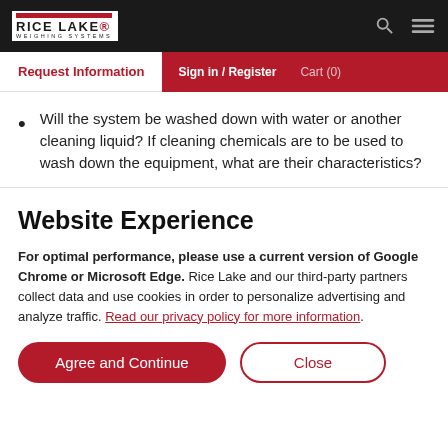RICE LAKE WEIGHING SYSTEMS
Request Information | Sign in / Register | Cart (0)
Will the system be washed down with water or another cleaning liquid? If cleaning chemicals are to be used to wash down the equipment, what are their characteristics?
Website Experience
For optimal performance, please use a current version of Google Chrome or Microsoft Edge. Rice Lake and our third-party partners collect data and use cookies in order to personalize advertising and analyze traffic. Read our privacy policy for more information.